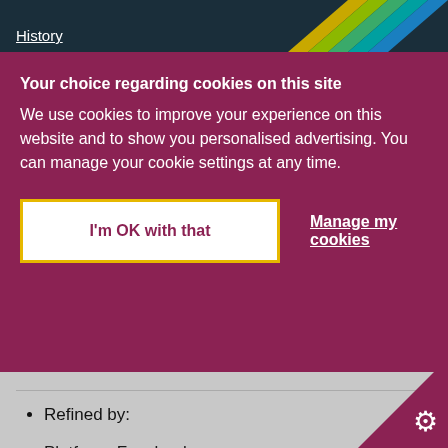History
Your choice regarding cookies on this site
We use cookies to improve your experience on this website and to show you personalised advertising. You can manage your cookie settings at any time.
I'm OK with that
Manage my cookies
Refined by:
Platform: Facebook
Last updated: Past year